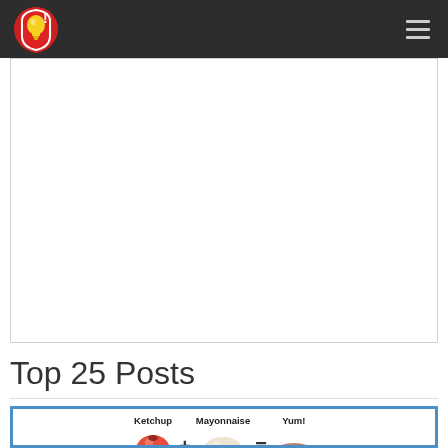Idea of the Day! [navigation bar with logo and hamburger menu]
Idea of the Day!
Top 25 Posts
[Figure (infographic): Ketchonnaise recipe infographic: Ketchup + Mayonnaise = Yum! with food images, titled KETCHONNAISE]